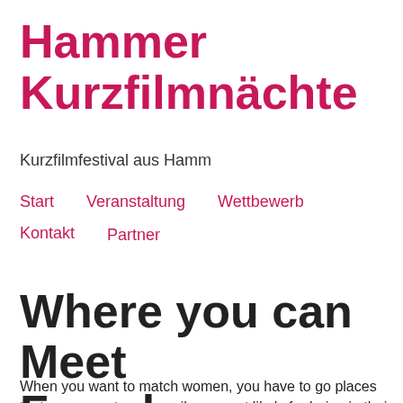Hammer Kurzfilmnächte
Kurzfilmfestival aus Hamm
Start
Veranstaltung
Wettbewerb
Kontakt
Partner
Where you can Meet Females
When you want to match women, you have to go places that women not necessarily as most likely for being in their organization. While you might believe you'd be at a red or a